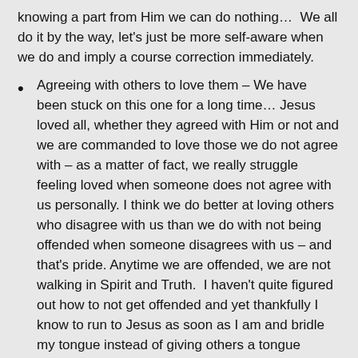knowing a part from Him we can do nothing…  We all do it by the way, let's just be more self-aware when we do and imply a course correction immediately.
Agreeing with others to love them – We have been stuck on this one for a long time… Jesus loved all, whether they agreed with Him or not and we are commanded to love those we do not agree with – as a matter of fact, we really struggle feeling loved when someone does not agree with us personally. I think we do better at loving others who disagree with us than we do with not being offended when someone disagrees with us – and that's pride. Anytime we are offended, we are not walking in Spirit and Truth.  I haven't quite figured out how to not get offended and yet thankfully I know to run to Jesus as soon as I am and bridle my tongue instead of giving others a tongue lashing – many of you all